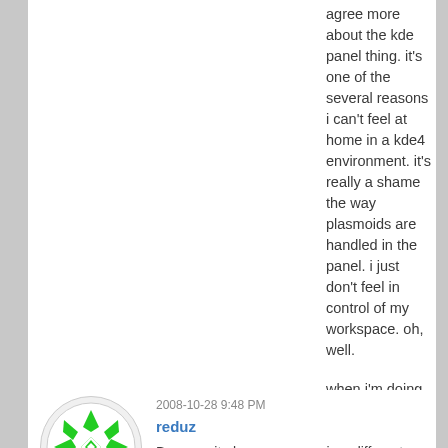agree more about the kde panel thing. it's one of the several reasons i can't feel at home in a kde4 environment. it's really a shame the way plasmoids are handled in the panel. i just don't feel in control of my workspace. oh, well.

when i'm doing any serious work, i usually operate from fluxbox and try to avoid the whole desktop environment mess.
2008-10-28 9:48 PM
reduz
Because it always appears in a different order than what you are used to. Recent